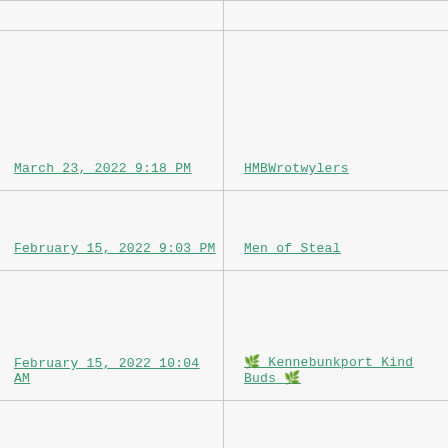| Date/Time | Name |
| --- | --- |
| March 23, 2022 9:18 PM | HMBWrotwylers |
| February 15, 2022 9:03 PM | Men of Steal |
| February 15, 2022 10:04 AM | 🌿 Kennebunkport Kind Buds 🌿 |
|  |  |